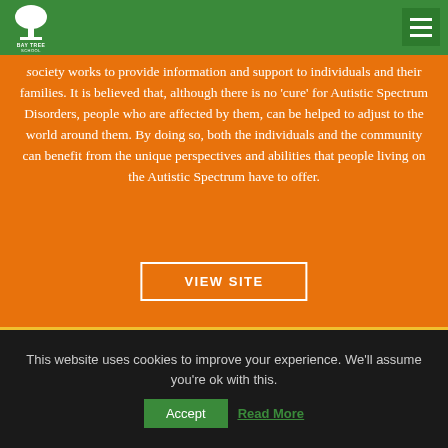[Figure (logo): Bay Tree School logo — white tree icon above a T shape with 'BAY TREE' and 'SCHOOL' text on green background]
society works to provide information and support to individuals and their families. It is believed that, although there is no 'cure' for Autistic Spectrum Disorders, people who are affected by them, can be helped to adjust to the world around them. By doing so, both the individuals and the community can benefit from the unique perspectives and abilities that people living on the Autistic Spectrum have to offer.
VIEW SITE
This website uses cookies to improve your experience. We'll assume you're ok with this.
Accept
Read More